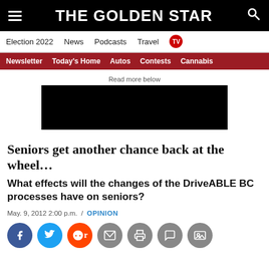THE GOLDEN STAR
Election 2022  News  Podcasts  Travel  TV
Newsletter  Today's Home  Autos  Contests  Cannabis
[Figure (other): Black advertisement block with label 'Read more below']
Seniors get another chance back at the wheel…
What effects will the changes of the DriveABLE BC processes have on seniors?
May. 9, 2012 2:00 p.m.  /  OPINION
[Figure (infographic): Social sharing icons: Facebook, Twitter, Reddit, Email, Print, Comment, Photo]